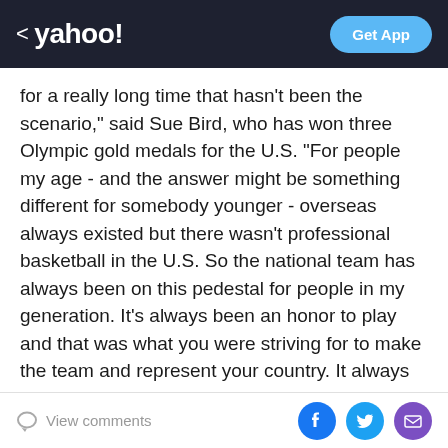< yahoo! | Get App
for a really long time that hasn't been the scenario," said Sue Bird, who has won three Olympic gold medals for the U.S. "For people my age - and the answer might be something different for somebody younger - overseas always existed but there wasn't professional basketball in the U.S. So the national team has always been on this pedestal for people in my generation. It's always been an honor to play and that was what you were striving for to make the team and represent your country. It always was the end game." Bird went on to say that even if that scenario did exist she would still suit up for the U.S. "I still think for me personally it would be hard to say no," the 33-year-old said. --- AP freelancers Al Bravo in
View comments | social share icons